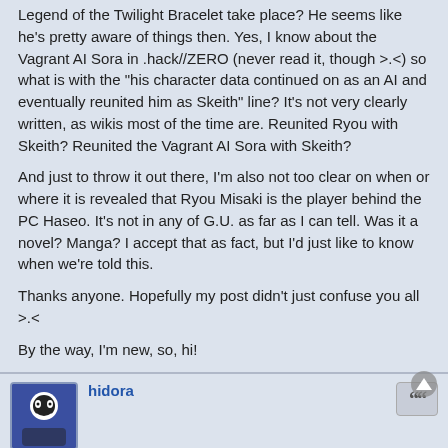Legend of the Twilight Bracelet take place? He seems like he's pretty aware of things then. Yes, I know about the Vagrant AI Sora in .hack//ZERO (never read it, though >.<) so what is with the "his character data continued on as an AI and eventually reunited him as Skeith" line? It's not very clearly written, as wikis most of the time are. Reunited Ryou with Skeith? Reunited the Vagrant AI Sora with Skeith?
And just to throw it out there, I'm also not too clear on when or where it is revealed that Ryou Misaki is the player behind the PC Haseo. It's not in any of G.U. as far as I can tell. Was it a novel? Manga? I accept that as fact, but I'd just like to know when we're told this.
Thanks anyone. Hopefully my post didn't just confuse you all >.<
By the way, I'm new, so, hi!
hidora
Re: Ryou Misaki *SPOILERS*
Tue Apr 19, 2011 2:41 pm
Eridanus wrote:
A few years later he's seen at various points with Shugo and the gang.